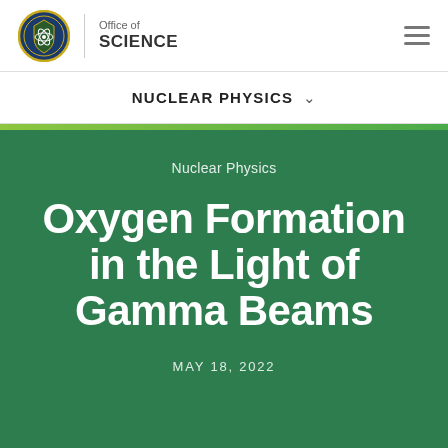Office of SCIENCE
NUCLEAR PHYSICS
Nuclear Physics
Oxygen Formation in the Light of Gamma Beams
MAY 18, 2022